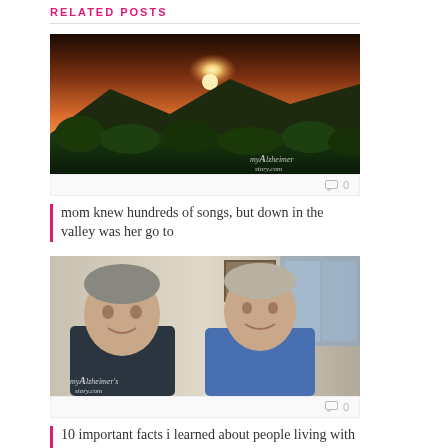RELATED POSTS
[Figure (photo): Sunset landscape over mountains with green forest in foreground, myAlzheimer'sstory.com watermark]
0
mom knew hundreds of songs, but down in the valley was her go to
[Figure (photo): Elderly couple smiling indoors, myAlzheimer's story.com watermark]
0
10 important facts i learned about people living with dementia